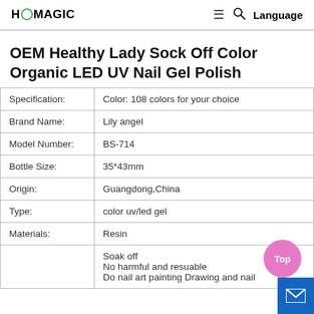HOMAGIC — Language
OEM Healthy Lady Sock Off Color Organic LED UV Nail Gel Polish
| Field | Value |
| --- | --- |
| Specification: | Color: 108 colors for your choice |
| Brand Name: | Lily angel |
| Model Number: | BS-714 |
| Bottle Size: | 35*43mm |
| Origin: | Guangdong,China |
| Type: | color uv/led gel |
| Materials: | Resin |
|  | Soak off
No harmful and resuable
Do nail art painting Drawing and nail |